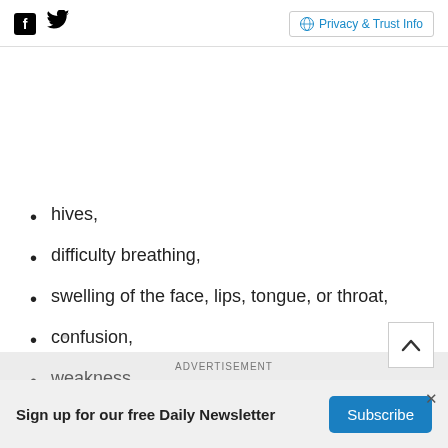Facebook Twitter | Privacy & Trust Info
hives,
difficulty breathing,
swelling of the face, lips, tongue, or throat,
confusion,
weakness,
ADVERTISEMENT
Sign up for our free Daily Newsletter